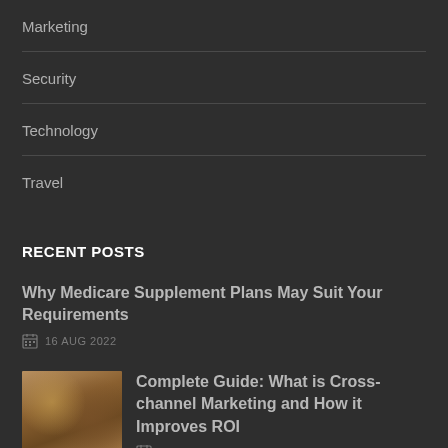Marketing
Security
Technology
Travel
RECENT POSTS
Why Medicare Supplement Plans May Suit Your Requirements
16 AUG 2022
[Figure (photo): Thumbnail image for cross-channel marketing post, showing blurred photo of person with microphone or device in warm tones]
Complete Guide: What is Cross-channel Marketing and How it Improves ROI
26 JUL 2022